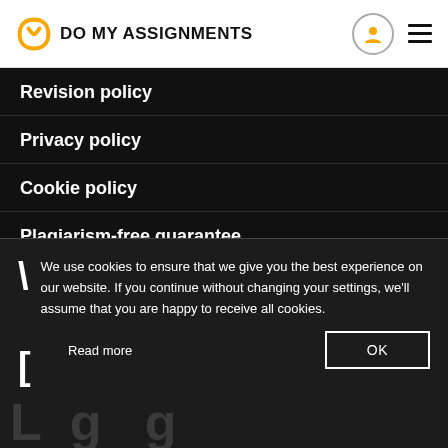DO MY ASSIGNMENTS
Revision policy
Privacy policy
Cookie policy
Plagiarism-free guarantee
Social responsibility policy
[Figure (illustration): Yellow speech bubble with three white dots (chat widget)]
We use cookies to ensure that we give you the best experience on our website. If you continue without changing your settings, we'll assume that you are happy to receive all cookies.
Read more
OK